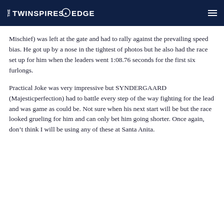THE TWINSPIRES @ EDGE
Mischief) was left at the gate and had to rally against the prevailing speed bias. He got up by a nose in the tightest of photos but he also had the race set up for him when the leaders went 1:08.76 seconds for the first six furlongs.
Practical Joke was very impressive but SYNDERGAARD (Majesticperfection) had to battle every step of the way fighting for the lead and was game as could be. Not sure when his next start will be but the race looked grueling for him and can only bet him going shorter. Once again, don’t think I will be using any of these at Santa Anita.